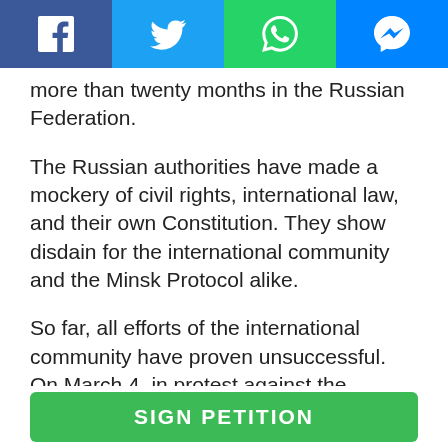[Figure (other): Social media share buttons bar with Facebook, Twitter, WhatsApp, and Messenger icons]
more than twenty months in the Russian Federation.
The Russian authorities have made a mockery of civil rights, international law, and their own Constitution. They show disdain for the international community and the Minsk Protocol alike.
So far, all efforts of the international community have proven unsuccessful. On March 4, in protest against the proceedings of the Russian court, Nadia Savchenko announced a full hunger strike, refusing even liquids.
SIGN PETITION